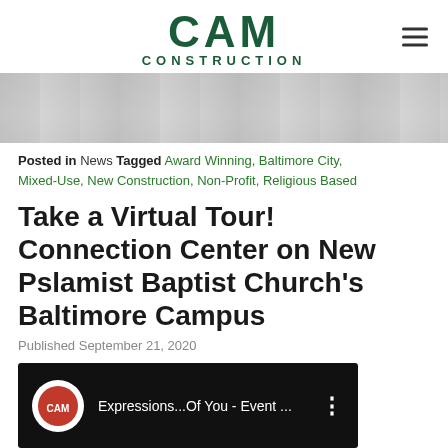CAM CONSTRUCTION
[Figure (photo): Faded grayscale banner/hero image of a building or construction project]
Posted in News Tagged Award Winning, Baltimore City, Mixed-Use, New Construction, Non-Profit, Religious Based
Take a Virtual Tour! Connection Center on New Pslamist Baptist Church's Baltimore Campus
Published September 21, 2020
[Figure (screenshot): YouTube video thumbnail showing 'Expressions...Of You - Event ...' with a channel avatar icon and three-dot menu]